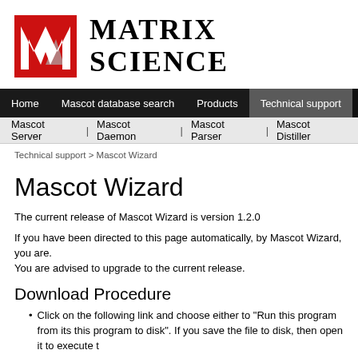[Figure (logo): Matrix Science logo: red M-shaped mark with grey shadow and 'MATRIX SCIENCE' text in serif bold]
Home | Mascot database search | Products | Technical support | Training
Mascot Server | Mascot Daemon | Mascot Parser | Mascot Distiller
Technical support > Mascot Wizard
Mascot Wizard
The current release of Mascot Wizard is version 1.2.0
If you have been directed to this page automatically, by Mascot Wizard, you are. You are advised to upgrade to the current release.
Download Procedure
Click on the following link and choose either to "Run this program from its" this program to disk". If you save the file to disk, then open it to execute t